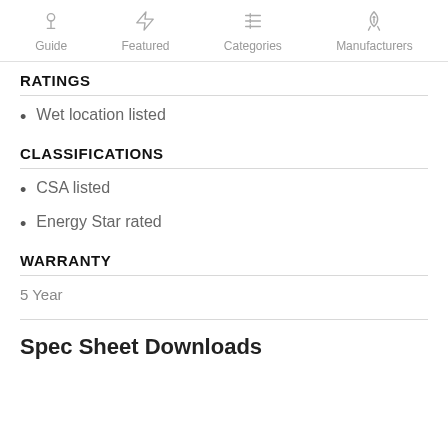Guide | Featured | Categories | Manufacturers
RATINGS
Wet location listed
CLASSIFICATIONS
CSA listed
Energy Star rated
WARRANTY
5 Year
Spec Sheet Downloads